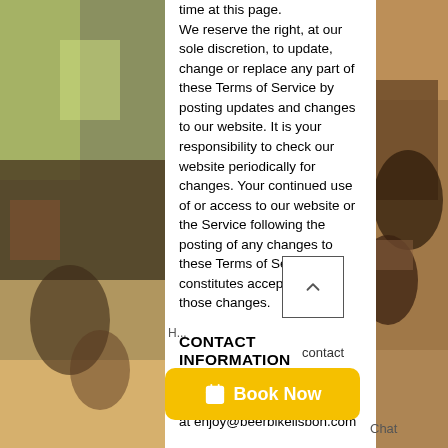[Figure (photo): Left side photo strip showing people on a beer bike tour in Lisbon]
time at this page. We reserve the right, at our sole discretion, to update, change or replace any part of these Terms of Service by posting updates and changes to our website. It is your responsibility to check our website periodically for changes. Your continued use of or access to our website or the Service following the posting of any changes to these Terms of Service constitutes acceptance of those changes.
CONTACT INFORMATION
Questions about the Terms of Service should be sent to us at enjoy@beerbikelisbon.com
[Figure (photo): Right side photo strip showing people smiling on a beer bike tour]